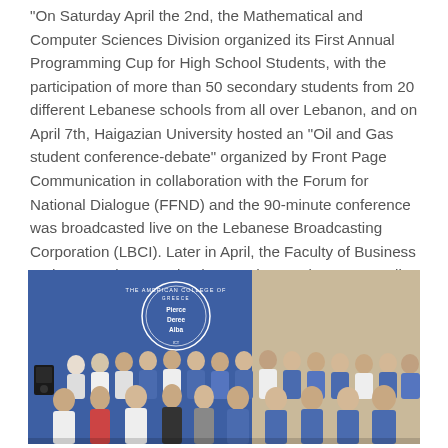"On Saturday April the 2nd, the Mathematical and Computer Sciences Division organized its First Annual Programming Cup for High School Students, with the participation of more than 50 secondary students from 20 different Lebanese schools from all over Lebanon, and on April 7th, Haigazian University hosted an “Oil and Gas student conference-debate” organized by Front Page Communication in collaboration with the Forum for National Dialogue (FFND) and the 90-minute conference was broadcasted live on the Lebanese Broadcasting Corporation (LBCI). Later in April, the Faculty of Business and Economics organized a one day seminar on “Family Businesses”.
[Figure (photo): Group photo of approximately 20 students and faculty wearing blue jackets/uniforms, standing in front of a blue backdrop with the American College of Greece (Pierce, Deree, Alba) circular logo/seal. A speaker is visible on the left side of the image.]